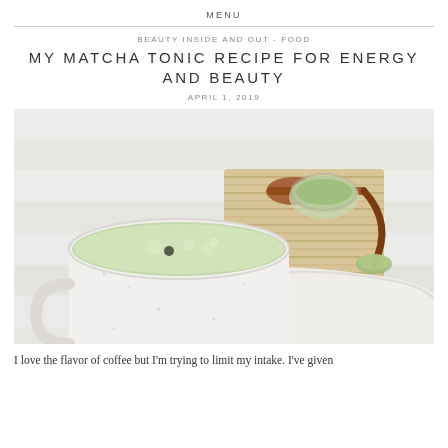MENU
BEAUTY INSIDE AND OUT - FOOD
MY MATCHA TONIC RECIPE FOR ENERGY AND BEAUTY
APRIL 1, 2019
[Figure (photo): A white speckled ceramic mug filled with frothy green matcha latte, placed on a white wooden surface with a bamboo mat, a small glass bowl of matcha powder, a wooden spoon, and a white cloth napkin.]
I love the flavor of coffee but I'm trying to limit my intake.  I've given